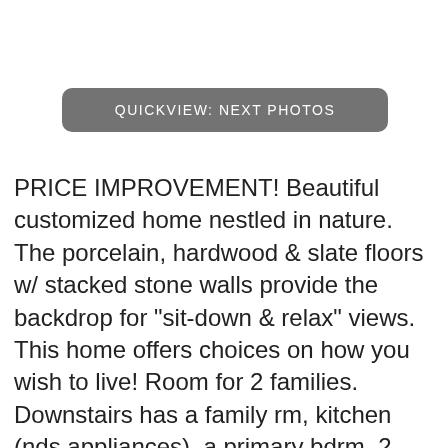[Figure (other): QUICKVIEW: NEXT PHOTOS button — dark grey rounded rectangle with white uppercase text]
PRICE IMPROVEMENT! Beautiful customized home nestled in nature. The porcelain, hardwood & slate floors w/ stacked stone walls provide the backdrop for "sit-down & relax" views. This home offers choices on how you wish to live! Room for 2 families. Downstairs has a family rm, kitchen (nds appliances), a primary bdrm, 2 guest bdrms, & an amazing bath w/ a sauna, oversized open shower, custom make-up vanity w/ direct access to the pool & vistas. Upstairs are the rooms w/ jaw dropping views including a 2nd primary bdrm